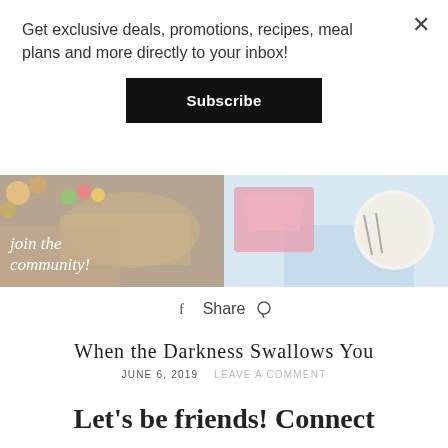Get exclusive deals, promotions, recipes, meal plans and more directly to your inbox!
Subscribe
[Figure (photo): Community banner with food images — left side shows warm-toned food/macaroons with italic script 'join the community!', right side shows pink desserts on a cake stand and a plate of food on a light blue cloth]
Share
When the Darkness Swallows You
JUNE 6, 2019    LEAVE A COMMENT
Let's be friends! Connect